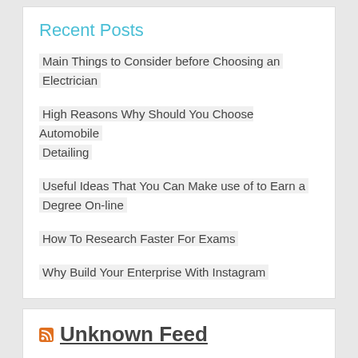Recent Posts
Main Things to Consider before Choosing an Electrician
High Reasons Why Should You Choose Automobile Detailing
Useful Ideas That You Can Make use of to Earn a Degree On-line
How To Research Faster For Exams
Why Build Your Enterprise With Instagram
Unknown Feed